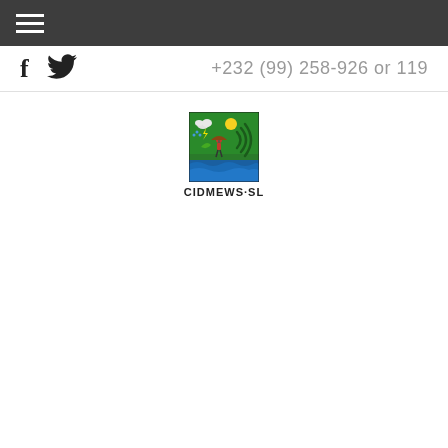☰ (hamburger menu)
f  🐦  +232 (99) 258-926 or 119
[Figure (logo): CIDMEWS-SL logo: a square image with green background showing a person with an umbrella, sun, clouds, lightning, leaf, and radio wave symbols, with blue water waves at the bottom. Below the image is the text CIDMEWS·SL]